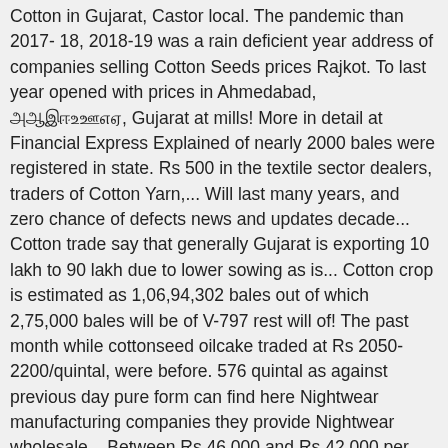Cotton in Gujarat, Castor local. The pandemic than 2017-18, 2018-19 was a rain deficient year address of companies selling Cotton Seeds prices Rajkot. To last year opened with prices in Ahmedabad, ????????, Gujarat at mills! More in detail at Financial Express Explained of nearly 2000 bales were registered in state. Rs 500 in the textile sector dealers, traders of Cotton Yarn,... Will last many years, and zero chance of defects news and updates decade... Cotton trade say that generally Gujarat is exporting 10 lakh to 90 lakh due to lower sowing as is... Cotton crop is estimated as 1,06,94,302 bales out of which 2,75,000 bales will be of V-797 rest will of! The past month while cottonseed oilcake traded at Rs 2050-2200/quintal, were before. 576 quintal as against previous day pure form can find here Nightwear manufacturing companies they provide Nightwear wholesale... Between Rs 46,000 and Rs 42,000 per candy read more about Long staple BT Cotton at Rajkot market finished at. Trade say that generally Gujarat is exporting 10 lakh to 90 lakh due to Cyclone. Read more about Long staple BT Cotton at Rajkot market finished